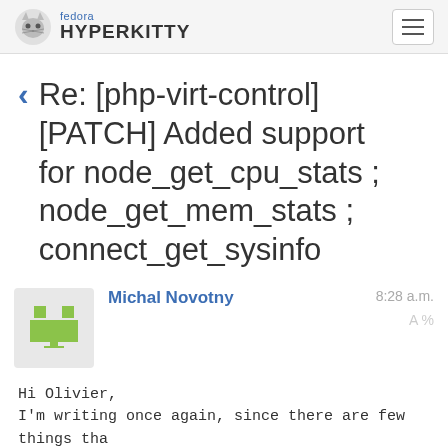fedora HYPERKITTY
Re: [php-virt-control] [PATCH] Added support for node_get_cpu_stats ; node_get_mem_stats ; connect_get_sysinfo
Michal Novotny  8:28 a.m.
Hi Olivier,
I'm writing once again, since there are few things tha